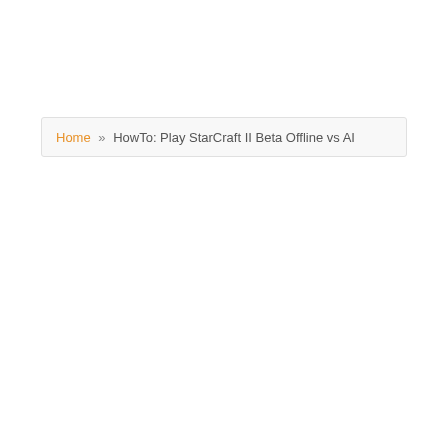Home » HowTo: Play StarCraft II Beta Offline vs AI